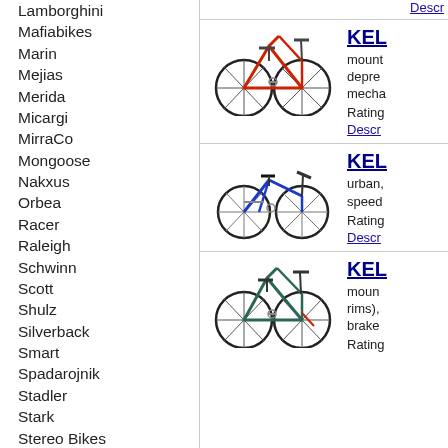Lamborghini
Mafiabikes
Marin
Mejias
Merida
Micargi
MirraCo
Mongoose
Nakxus
Orbea
Racer
Raleigh
Schwinn
Scott
Shulz
Silverback
Smart
Spadarojnik
Stadler
Stark
Stereo Bikes
Stinger
Stolen
Strida
Sunday
[Figure (photo): Red mountain bike side view]
mountain... deprec... mecha...
Rating
Descr...
[Figure (photo): Blue folding/urban bike side view]
urban, speed
Rating
Descr...
[Figure (photo): Dark green/grey mountain bike side view]
moun... rims), brake
Rating